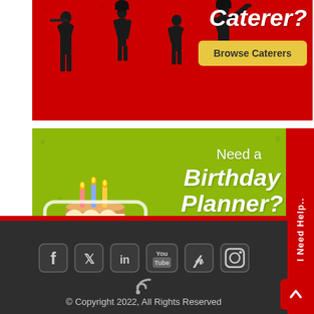[Figure (illustration): Red banner advertisement for a caterer service with black silhouette figures of waiters and cooks, bold text 'Caterer?' and a yellow 'Browse Caterers' button]
[Figure (illustration): Green banner advertisement for a birthday planner service with a cartoon birthday cake illustration, text 'Need a Birthday Planner?' and an orange 'Browse Services' button]
[Figure (infographic): Red vertical side tab with text 'I Need Help...' rotated vertically]
© Copyright 2022, All Rights Reserved